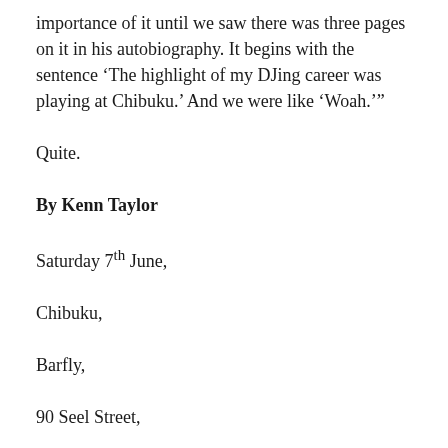importance of it until we saw there was three pages on it in his autobiography. It begins with the sentence ‘The highlight of my DJing career was playing at Chibuku.’ And we were like ‘Woah.’”
Quite.
By Kenn Taylor
Saturday 7th June,
Chibuku,
Barfly,
90 Seel Street,